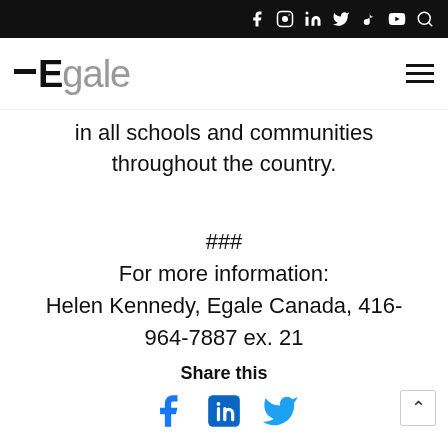Egale Canada — social icons and navigation
in all schools and communities throughout the country.
###
For more information:
Helen Kennedy, Egale Canada, 416-964-7887 ex. 21
Share this